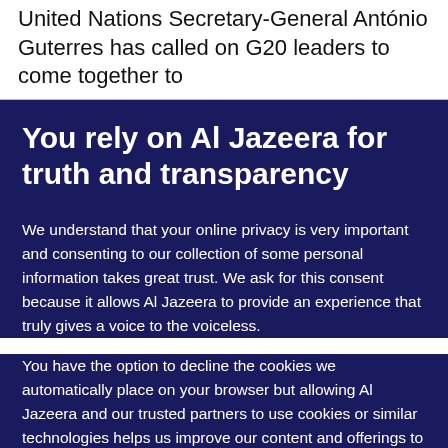United Nations Secretary-General António Guterres has called on G20 leaders to come together to
You rely on Al Jazeera for truth and transparency
We understand that your online privacy is very important and consenting to our collection of some personal information takes great trust. We ask for this consent because it allows Al Jazeera to provide an experience that truly gives a voice to the voiceless.
You have the option to decline the cookies we automatically place on your browser but allowing Al Jazeera and our trusted partners to use cookies or similar technologies helps us improve our content and offerings to you. You can change your privacy preferences at any time by selecting 'Cookie preferences' at the bottom of your screen. To learn more, please view our Cookie Policy.